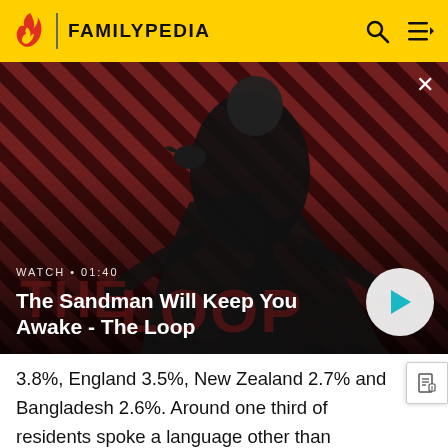FAMILYPEDIA
[Figure (screenshot): Video thumbnail for 'The Sandman Will Keep You Awake - The Loop' with a dark figure dressed in black standing against a red and black diagonal striped background with a crow on shoulder. Shows WATCH · 01:40 label and play button.]
3.8%, England 3.5%, New Zealand 2.7% and Bangladesh 2.6%. Around one third of residents spoke a language other than English at home. The most common language spoken were Bengali 3.5%, Hindi 2.7%, Tagalog 2.4% and Arabic 2.0%.[1]